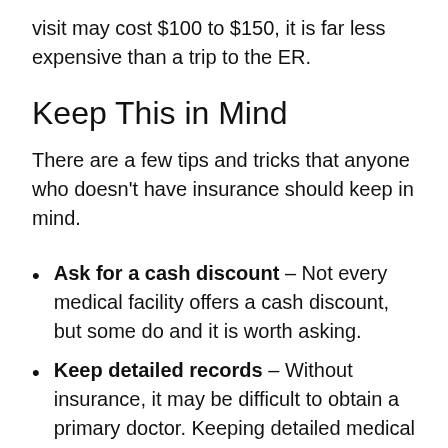visit may cost $100 to $150, it is far less expensive than a trip to the ER.
Keep This in Mind
There are a few tips and tricks that anyone who doesn't have insurance should keep in mind.
Ask for a cash discount – Not every medical facility offers a cash discount, but some do and it is worth asking.
Keep detailed records – Without insurance, it may be difficult to obtain a primary doctor. Keeping detailed medical...